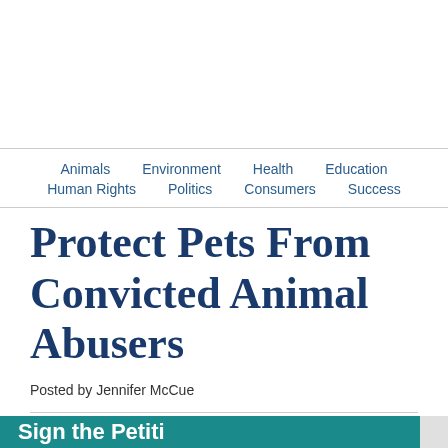Animals  Environment  Health  Education  Human Rights  Politics  Consumers  Success
Protect Pets From Convicted Animal Abusers
Posted by Jennifer McCue
[Figure (infographic): Social sharing buttons row: Email (blue), SMS (green), Facebook (blue), Twitter (light blue), Reddit (orange), Pinterest (dark red), More/Plus (blue)]
Sign the Petition...